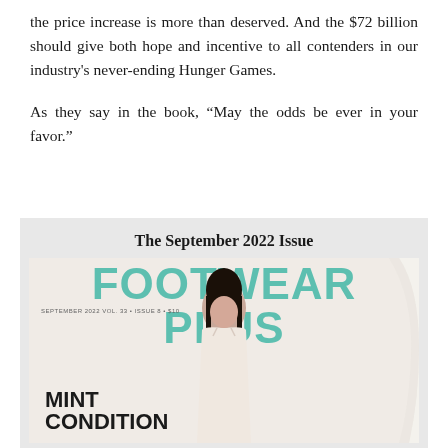the price increase is more than deserved. And the $72 billion should give both hope and incentive to all contenders in our industry's never-ending Hunger Games.
As they say in the book, “May the odds be ever in your favor.”
The September 2022 Issue
[Figure (photo): Magazine cover of Footwear Plus September 2022 issue featuring the title 'FOOTWEAR PLUS' in large teal letters, a female model in a light-colored dress, and the headline 'MINT CONDITION' in bold black text at the bottom left.]